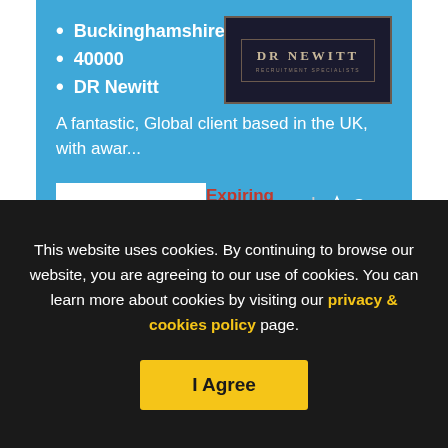Buckinghamshire
40000
DR Newitt
[Figure (logo): DR Newitt Recruitment Specialists logo on dark navy background with gold border]
A fantastic, Global client based in the UK, with awar...
View details
Expiring today
Save
This website uses cookies. By continuing to browse our website, you are agreeing to our use of cookies. You can learn more about cookies by visiting our privacy & cookies policy page.
I Agree